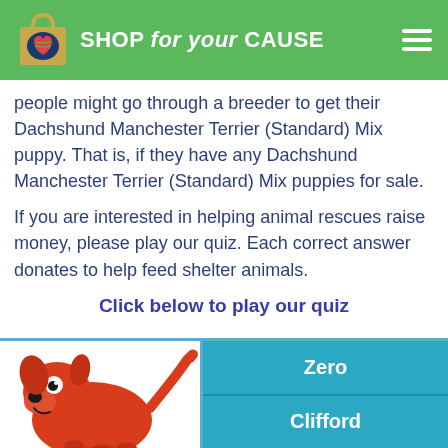SHOP for your CAUSE
people might go through a breeder to get their Dachshund Manchester Terrier (Standard) Mix puppy. That is, if they have any Dachshund Manchester Terrier (Standard) Mix puppies for sale.
If you are interested in helping animal rescues raise money, please play our quiz. Each correct answer donates to help feed shelter animals.
Click below to play our quiz
[Figure (illustration): Cartoon red dog (Clifford the Big Red Dog style) illustration on a white quiz card background, with two teal answer buttons on the right reading 'Zero' and 'Clifford']